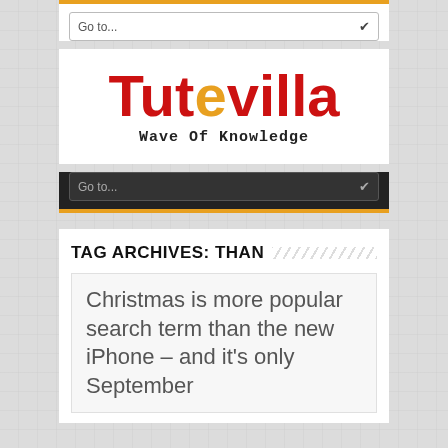[Figure (screenshot): Navigation bar with 'Go to...' dropdown selector, white background, orange top border]
[Figure (logo): Tutevilla logo in red with tagline 'Wave Of Knowledge' in monospace font]
[Figure (screenshot): Dark navigation bar with 'Go to...' dropdown selector, dark background, orange bottom border]
TAG ARCHIVES: THAN
Christmas is more popular search term than the new iPhone – and it's only September